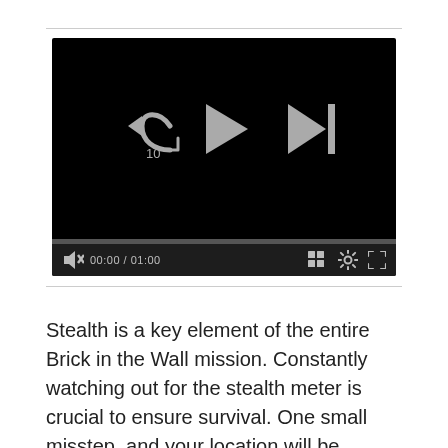[Figure (screenshot): Video player with black background showing playback controls: rewind 10s button, play button, skip-next button, progress bar, mute icon, time display 00:00 / 01:00, grid icon, settings gear icon, fullscreen icon.]
Stealth is a key element of the entire Brick in the Wall mission. Constantly watching out for the stealth meter is crucial to ensure survival. One small misstep, and your location will be compromised, leading to a gun battle that will prove exceptionally tricky to win.